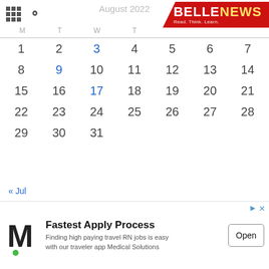BELLENEWS — Read. Think. Learn.
August 2022
| M | T | W | T | F | S | S |
| --- | --- | --- | --- | --- | --- | --- |
| 1 | 2 | 3 | 4 | 5 | 6 | 7 |
| 8 | 9 | 10 | 11 | 12 | 13 | 14 |
| 15 | 16 | 17 | 18 | 19 | 20 | 21 |
| 22 | 23 | 24 | 25 | 26 | 27 | 28 |
| 29 | 30 | 31 |  |  |  |  |
« Jul
[Figure (screenshot): Advertisement banner for Medical Solutions: 'Fastest Apply Process — Finding high paying travel RN jobs is easy with our traveler app Medical Solutions' with Open button]